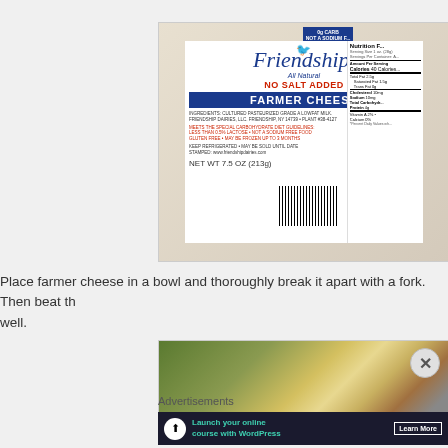[Figure (photo): Friendship brand farmer cheese package label showing 'All Natural NO SALT ADDED FARMER CHEESE', nutrition facts panel, barcode, and NET WT 7.5 OZ (213g)]
Place farmer cheese in a bowl and thoroughly break it apart with a fork. Then beat th... well.
[Figure (photo): Close-up photo of farmer cheese being mixed with a fork]
Advertisements
[Figure (infographic): Ad banner: Launch your online course with WordPress. Learn More.]